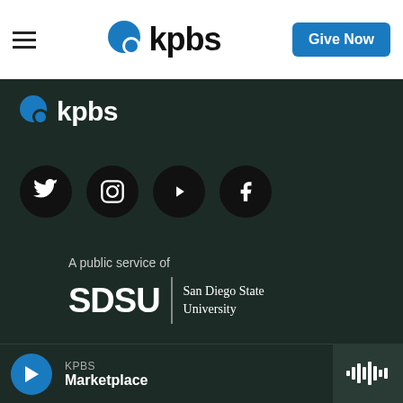KPBS — Give Now
[Figure (logo): KPBS logo with blue speech-bubble icon and bold kpbs text, with Give Now blue button on the right]
[Figure (logo): KPBS logo (white text on dark background) in footer area]
[Figure (infographic): Four social media icons (Twitter, Instagram, YouTube, Facebook) as white icons on black circles]
A public service of
[Figure (logo): SDSU | San Diego State University logo in white on dark background]
About
About Us & Mission
[Figure (other): Audio player bar at bottom: blue play button, KPBS label, Marketplace show title, waveform icon on right]